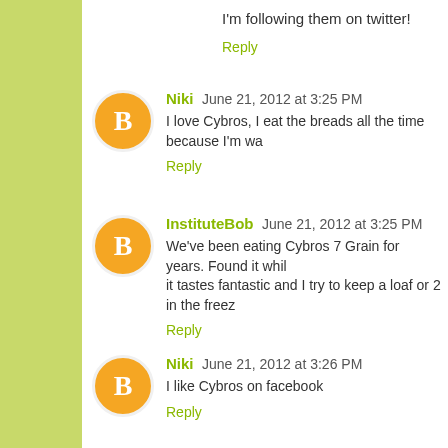I'm following them on twitter!
Reply
Niki June 21, 2012 at 3:25 PM
I love Cybros, I eat the breads all the time because I'm wa
Reply
InstituteBob June 21, 2012 at 3:25 PM
We've been eating Cybros 7 Grain for years. Found it whil it tastes fantastic and I try to keep a loaf or 2 in the freez
Reply
Niki June 21, 2012 at 3:26 PM
I like Cybros on facebook
Reply